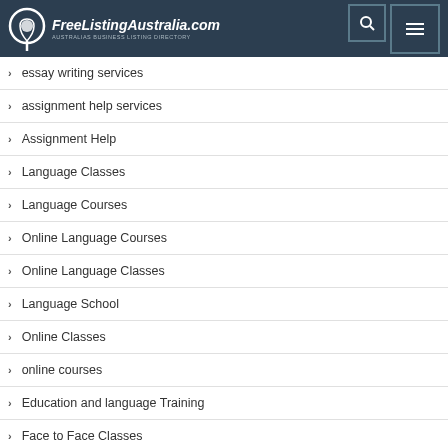FreeListingAustralia.com — AUSTRALIAS BUSINESS LISTING DIRECTORY
essay writing services
assignment help services
Assignment Help
Language Classes
Language Courses
Online Language Courses
Online Language Classes
Language School
Online Classes
online courses
Education and language Training
Face to Face Classes